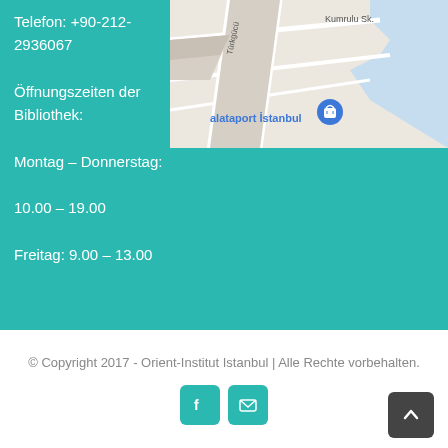[Figure (map): Google Maps screenshot showing a location near alataport Istanbul with street names including Kumrulu Sk. and Türkgücü, with water/sea visible in the top right. A teal shopping bag pin icon labeled 'alataport İstanbul' is visible.]
Telefon: +90-212-2936067 Öffnungszeiten der Bibliothek: Montag – Donnerstag: 10.00 – 19.00 Freitag: 9.00 – 13.00
© Copyright 2017 - Orient-Institut Istanbul | Alle Rechte vorbehalten.